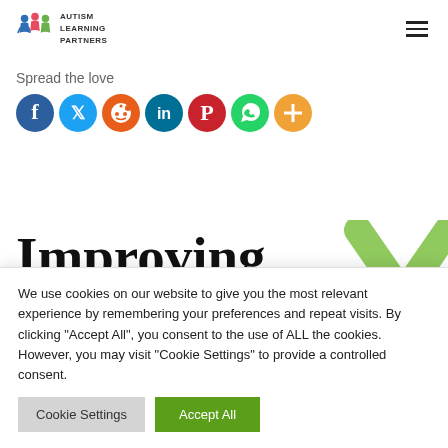[Figure (logo): Autism Learning Partners logo with colorful figures and text]
Spread the love
[Figure (infographic): Social sharing icons: Facebook (blue), Twitter (blue), Reddit (orange), LinkedIn (teal), Pinterest (red), WhatsApp (green), More (orange)]
Improving Mealtime
[Figure (illustration): Green X / arrow decoration in top-right corner]
We use cookies on our website to give you the most relevant experience by remembering your preferences and repeat visits. By clicking "Accept All", you consent to the use of ALL the cookies. However, you may visit "Cookie Settings" to provide a controlled consent.